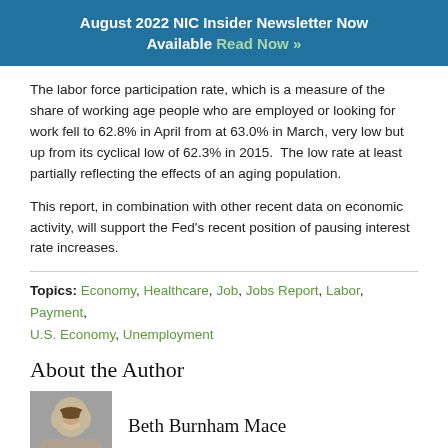August 2022 NIC Insider Newsletter Now Available Read Now »
The labor force participation rate, which is a measure of the share of working age people who are employed or looking for work fell to 62.8% in April from at 63.0% in March, very low but up from its cyclical low of 62.3% in 2015.  The low rate at least partially reflecting the effects of an aging population.
This report, in combination with other recent data on economic activity, will support the Fed's recent position of pausing interest rate increases.
Topics: Economy, Healthcare, Job, Jobs Report, Labor, Payment, U.S. Economy, Unemployment
About the Author
Beth Burnham Mace